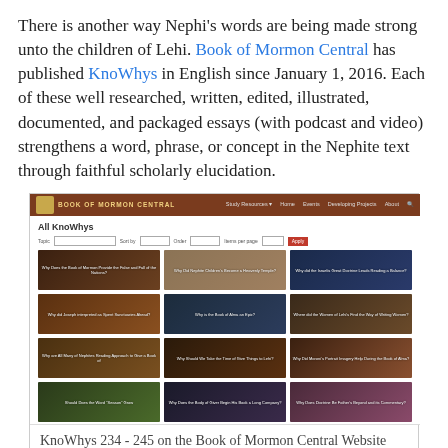There is another way Nephi's words are being made strong unto the children of Lehi. Book of Mormon Central has published KnoWhys in English since January 1, 2016. Each of these well researched, written, edited, illustrated, documented, and packaged essays (with podcast and video) strengthens a word, phrase, or concept in the Nephite text through faithful scholarly elucidation.
[Figure (screenshot): Screenshot of the Book of Mormon Central website showing the 'All KnoWhys' page with a grid of 12 KnoWhy article thumbnails (KnoWhys 234–245)]
KnoWhys 234 - 245 on the Book of Mormon Central Website
KnoWhy #500 was published on January 31, 2019. We will be publishing KnoWhys for many years. Eventually they will